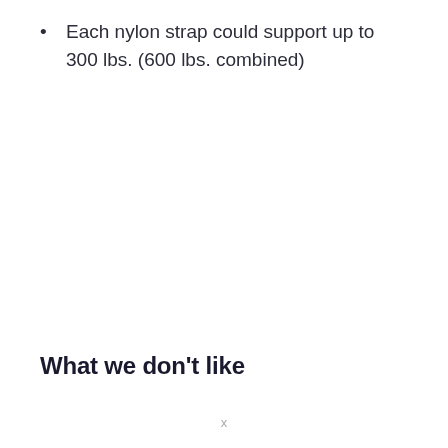Each nylon strap could support up to 300 lbs. (600 lbs. combined)
What we don't like
x